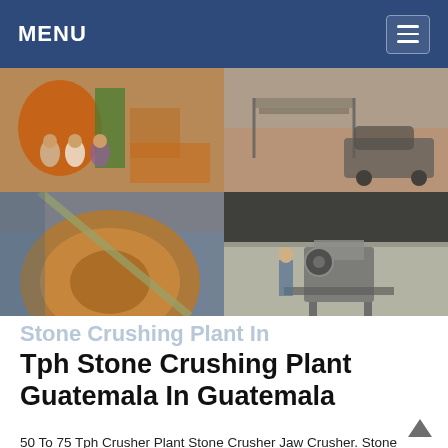MENU
[Figure (photo): Four-panel photo grid showing industrial stone crushing equipment and workers at a quarry/crushing plant site. Top-left: three workers standing in front of large orange industrial machinery. Top-right: a car parked near metal ramps and industrial equipment outdoors. Bottom-left: close-up of a large rusty drum/mill cylinder machine. Bottom-right: a jaw crusher machine inside an open industrial shed/warehouse.]
Stone Crushing Plant In
Tph Stone Crushing Plant Guatemala In Guatemala
50 To 75 Tph Crusher Plant Stone Crusher Jaw Crusher. Stone crusher and quarry plant in guatemala city Stone crusher and quarry plant in guatemala city crusher